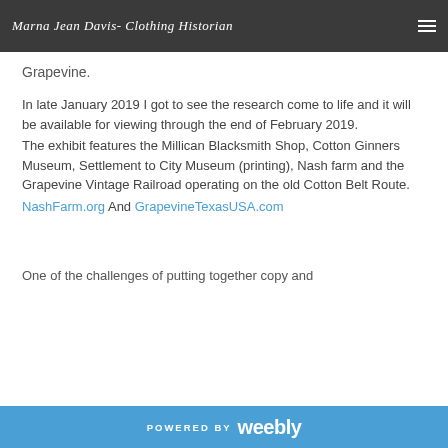Marna Jean Davis- Clothing Historian
Grapevine.
In late January 2019  I got to see the research come to life and it will be available for viewing through the end of February 2019.
The exhibit features the Millican Blacksmith Shop, Cotton Ginners Museum, Settlement to City Museum (printing), Nash farm and the Grapevine Vintage Railroad operating on the old Cotton Belt Route.
NashFarm.org And GrapevineTexasUSA.com
One of the challenges of putting together copy and
POWERED BY weebly